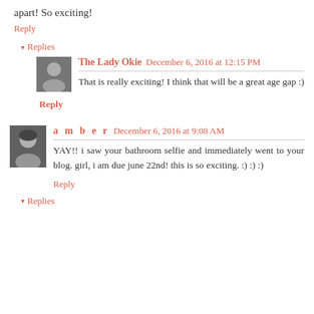apart! So exciting!
Reply
▾ Replies
The Lady Okie    December 6, 2016 at 12:15 PM
That is really exciting! I think that will be a great age gap :)
Reply
a m b e r   December 6, 2016 at 9:08 AM
YAY!! i saw your bathroom selfie and immediately went to your blog. girl, i am due june 22nd! this is so exciting. :) :) :)
Reply
▾ Replies